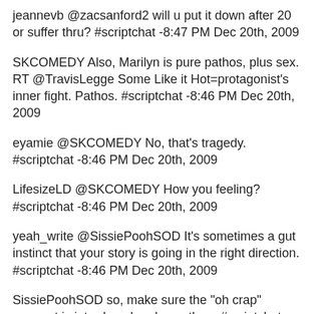jeannevb @zacsanford2 will u put it down after 20 or suffer thru? #scriptchat -8:47 PM Dec 20th, 2009
SKCOMEDY Also, Marilyn is pure pathos, plus sex. RT @TravisLegge Some Like it Hot=protagonist's inner fight. Pathos. #scriptchat -8:46 PM Dec 20th, 2009
eyamie @SKCOMEDY No, that's tragedy. #scriptchat -8:46 PM Dec 20th, 2009
LifesizeLD @SKCOMEDY How you feeling? #scriptchat -8:46 PM Dec 20th, 2009
yeah_write @SissiePoohSOD It's sometimes a gut instinct that your story is going in the right direction. #scriptchat -8:46 PM Dec 20th, 2009
SissiePoohSOD so, make sure the "oh crap" moment is introduced early on, then. #scriptchat -8:46 PM Dec 20th, 2009
quicksilverwest @jbonnell re: fooling the reader: exactly jb!